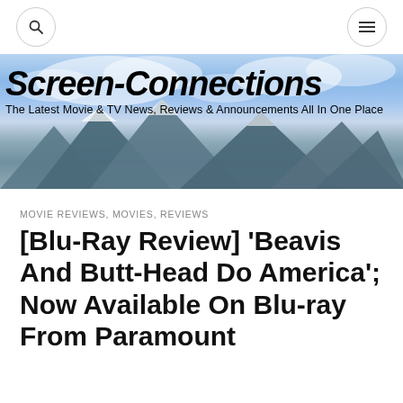Screen-Connections — The Latest Movie & TV News, Reviews & Announcements All In One Place
[Figure (screenshot): Screen-Connections website banner with mountain landscape background, bold italic site title 'Screen-Connections' and subtitle 'The Latest Movie & TV News, Reviews & Announcements All In One Place']
MOVIE REVIEWS, MOVIES, REVIEWS
[Blu-Ray Review] 'Beavis And Butt-Head Do America'; Now Available On Blu-ray From Paramount